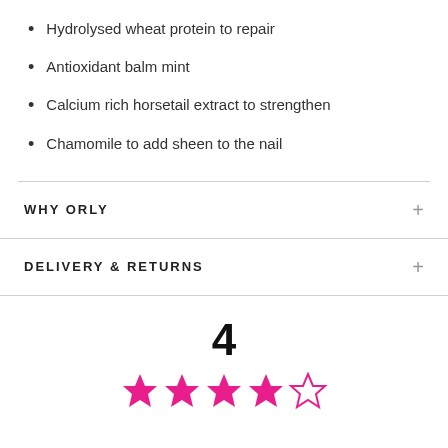Hydrolysed wheat protein to repair
Antioxidant balm mint
Calcium rich horsetail extract to strengthen
Chamomile to add sheen to the nail
WHY ORLY
DELIVERY & RETURNS
4
[Figure (other): 5-star rating display showing 4 out of 5 filled pink stars and 1 empty star outline]